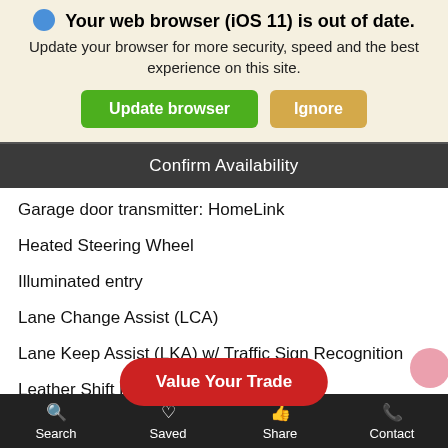Your web browser (iOS 11) is out of date.
Update your browser for more security, speed and the best experience on this site.
Update browser | Ignore
Confirm Availability
Garage door transmitter: HomeLink
Heated Steering Wheel
Illuminated entry
Lane Change Assist (LCA)
Lane Keep Assist (LKA) w/ Traffic Sign Recognition
Leather Shift Knob
Outside temperature display
Overhead console
Passenger vanity mirror
Rear reading li[ghts]
Rear seat ce[nter armrest]
Value Your Trade
Search | Saved | Share | Contact